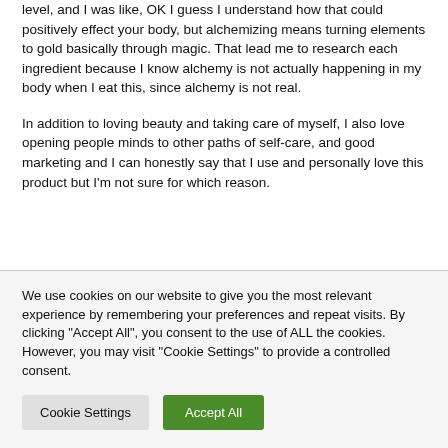level, and I was like, OK I guess I understand how that could positively effect your body, but alchemizing means turning elements to gold basically through magic. That lead me to research each ingredient because I know alchemy is not actually happening in my body when I eat this, since alchemy is not real.
In addition to loving beauty and taking care of myself, I also love opening people minds to other paths of self-care, and good marketing and I can honestly say that I use and personally love this product but I'm not sure for which reason.
We use cookies on our website to give you the most relevant experience by remembering your preferences and repeat visits. By clicking "Accept All", you consent to the use of ALL the cookies. However, you may visit "Cookie Settings" to provide a controlled consent.